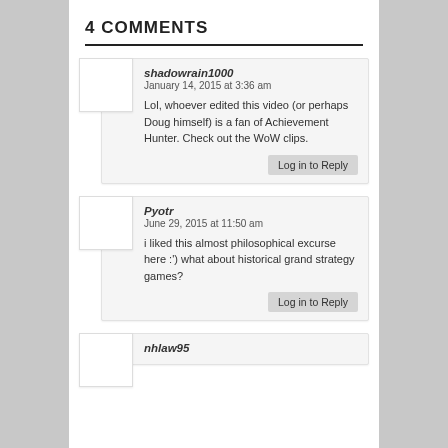4 COMMENTS
shadowrain1000
January 14, 2015 at 3:36 am
Lol, whoever edited this video (or perhaps Doug himself) is a fan of Achievement Hunter. Check out the WoW clips.
Pyotr
June 29, 2015 at 11:50 am
i liked this almost philosophical excurse here :') what about historical grand strategy games?
nhlaw95